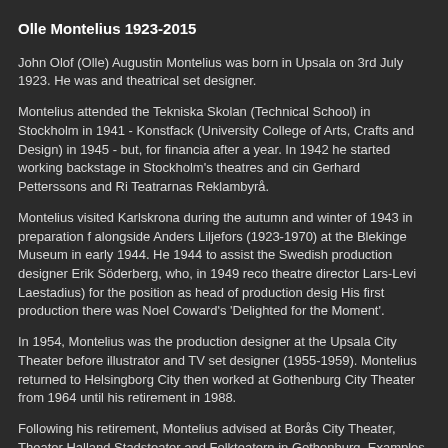Olle Montelius 1923-2015
John Olof (Olle) Augustin Montelius was born in Upsala on 3rd July 1923. He was and theatrical set designer.
Montelius attended the Tekniska Skolan (Technical School) in Stockholm in 1941 - Konstfack (University College of Arts, Crafts and Design) in 1945 - but, for financial after a year. In 1942 he started working backstage in Stockholm's theatres and cin Gerhard Petterssons and Ri Teatrarnas Reklambyrå.
Montelius visited Karlskrona during the autumn and winter of 1943 in preparation f alongside Anders Liljefors (1923-1970) at the Blekinge Museum in early 1944. He 1944 to assist the Swedish production designer Erik Söderberg, who, in 1949 reco theatre director Lars-Levi Laestadius) for the position as head of production desig His first production there was Noel Coward's 'Delighted for the Moment'.
In 1954, Montelius was the production designer at the Upsala City Theater before illustrator and TV set designer (1955-1959). Montelius returned to Helsingborg City then worked at Gothenburg City Theater from 1964 until his retirement in 1988.
Following his retirement, Montelius advised at Borås City Theater, Theater Halland Stadsteater and Folkteatern in Gothenburg. Examples of Montelius' work are held Gothenburg University Library.
Olle Montelius died in Gothenburg on 25th June 2015, aged 91.